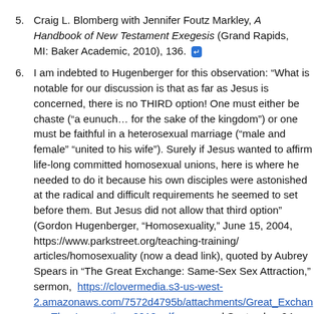5. Craig L. Blomberg with Jennifer Foutz Markley, A Handbook of New Testament Exegesis (Grand Rapids, MI: Baker Academic, 2010), 136. [return icon]
6. I am indebted to Hugenberger for this observation: “What is notable for our discussion is that as far as Jesus is concerned, there is no THIRD option! One must either be chaste (“a eunuch… for the sake of the kingdom”) or one must be faithful in a heterosexual marriage (“male and female” “united to his wife”). Surely if Jesus wanted to affirm life-long committed homosexual unions, here is where he needed to do it because his own disciples were astonished at the radical and difficult requirements he seemed to set before them. But Jesus did not allow that third option” (Gordon Hugenberger, “Homosexuality,” June 15, 2004, https://www.parkstreet.org/teaching-training/articles/homosexuality (now a dead link), quoted by Aubrey Spears in “The Great Exchange: Same-Sex Sex Attraction,” sermon, https://clovermedia.s3-us-west-2.amazonaws.com/7572d4795b/attachments/Great_Exchange_The_Incarnation_2018.pdf, accessed September 24,